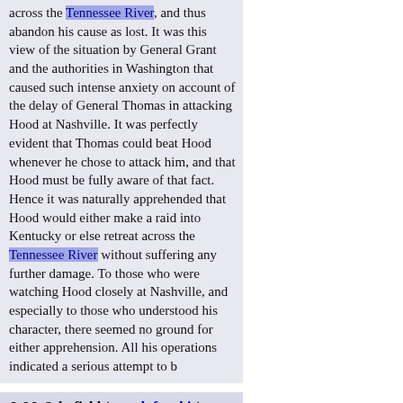across the Tennessee River, and thus abandon his cause as lost. It was this view of the situation by General Grant and the authorities in Washington that caused such intense anxiety on account of the delay of General Thomas in attacking Hood at Nashville. It was perfectly evident that Thomas could beat Hood whenever he chose to attack him, and that Hood must be fully aware of that fact. Hence it was naturally apprehended that Hood would either make a raid into Kentucky or else retreat across the Tennessee River without suffering any further damage. To those who were watching Hood closely at Nashville, and especially to those who understood his character, there seemed no ground for either apprehension. All his operations indicated a serious attempt to b
J. M. Schofield (search for this): chapter 14
g about what shall be done if he does not retreat. Hdqrs. Cavalry Corps, Mil. Div. Of the Mississippi, in the field, December 16, 1864, 10:10 A. M. Major-General Schofield, Commanding Twenty-third Army Corps. General: The regiment sent to the Granny White pike reports it strongly